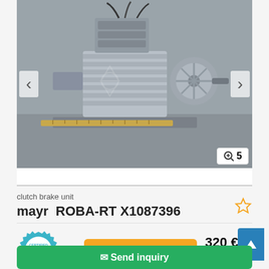[Figure (photo): Product photo of a mayr ROBA-RT X1087396 clutch brake unit, a mechanical/electromechanical device with finned aluminum housing, mounted on a metal plate, with wiring visible, shown next to a ruler for scale.]
clutch brake unit
mayr  ROBA-RT X1087396
[Figure (logo): Certified Dealer badge - circular gear shape with teal/blue color, checkmark in center, text 'CERTIFIED DEALER' around it.]
Save search query
320 €
Fixed price plus VAT
Send inquiry